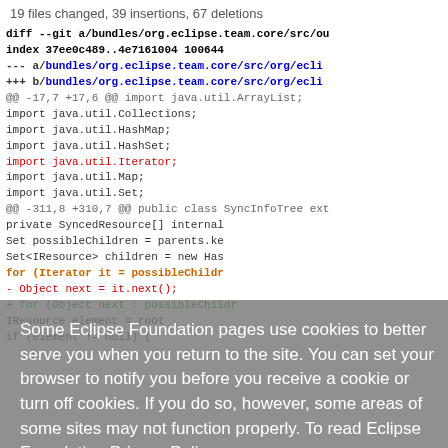19 files changed, 39 insertions, 67 deletions
[Figure (screenshot): Git diff output showing changes to bundles/org.eclipse.team.core source file, with lines added/removed in Java imports and SyncInfoTree class]
Some Eclipse Foundation pages use cookies to better serve you when you return to the site. You can set your browser to notify you before you receive a cookie or turn off cookies. If you do so, however, some areas of some sites may not function properly. To read Eclipse Foundation Privacy Policy, click here.
Decline
Allow cookies